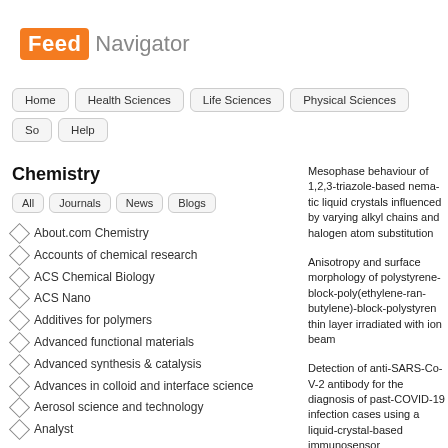[Figure (logo): FeedNavigator logo with orange 'Feed' box and grey 'Navigator' text]
Home
Health Sciences
Life Sciences
Physical Sciences
So...
Help
Chemistry
All
Journals
News
Blogs
About.com Chemistry
Accounts of chemical research
ACS Chemical Biology
ACS Nano
Additives for polymers
Advanced functional materials
Advanced synthesis & catalysis
Advances in colloid and interface science
Aerosol science and technology
Analyst
Mesophase behaviour of 1,2,3-triazole-based nematic liquid crystals influenced by varying alkyl chains and halogen atom substitution
Anisotropy and surface morphology of polystyrene-block-poly(ethylene-ran-butylene)-block-polystyrene thin layer irradiated with ion beam
Detection of anti-SARS-CoV-2 antibody for the diagnosis of past-COVID-19 infection cases using a liquid-crystal-based immunosensor
Effect of terminal metamers and homologous with imine...